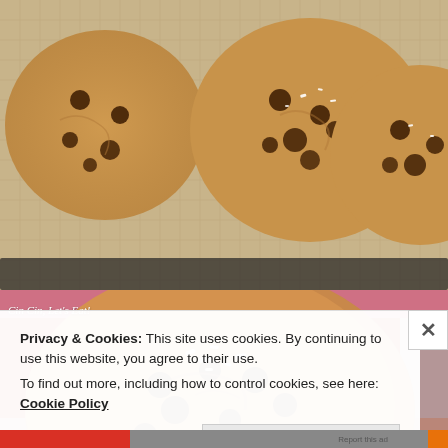[Figure (photo): Overhead photo of chocolate chip cookies on a silicone baking mat, showing multiple round cookies with visible chocolate chips and sea salt flakes on a tan/beige gridded mat]
[Figure (photo): Close-up photo of a single large chocolate chip cookie with sea salt on a red silicone baking mat inside a metal baking pan, with watermark text 'Cin Cin, Let's Eat!' in white italic font]
Privacy & Cookies: This site uses cookies. By continuing to use this website, you agree to their use.
To find out more, including how to control cookies, see here: Cookie Policy
Close and accept